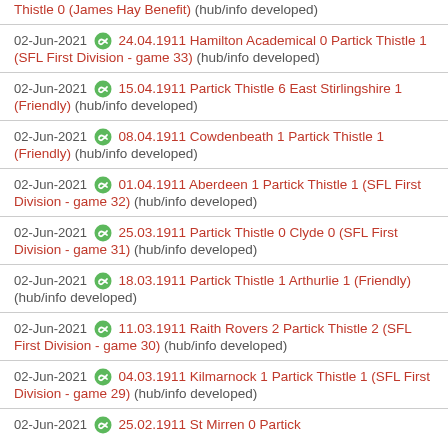Thistle 0 (James Hay Benefit) (hub/info developed)
02-Jun-2021 [icon] 24.04.1911 Hamilton Academical 0 Partick Thistle 1 (SFL First Division - game 33) (hub/info developed)
02-Jun-2021 [icon] 15.04.1911 Partick Thistle 6 East Stirlingshire 1 (Friendly) (hub/info developed)
02-Jun-2021 [icon] 08.04.1911 Cowdenbeath 1 Partick Thistle 1 (Friendly) (hub/info developed)
02-Jun-2021 [icon] 01.04.1911 Aberdeen 1 Partick Thistle 1 (SFL First Division - game 32) (hub/info developed)
02-Jun-2021 [icon] 25.03.1911 Partick Thistle 0 Clyde 0 (SFL First Division - game 31) (hub/info developed)
02-Jun-2021 [icon] 18.03.1911 Partick Thistle 1 Arthurlie 1 (Friendly) (hub/info developed)
02-Jun-2021 [icon] 11.03.1911 Raith Rovers 2 Partick Thistle 2 (SFL First Division - game 30) (hub/info developed)
02-Jun-2021 [icon] 04.03.1911 Kilmarnock 1 Partick Thistle 1 (SFL First Division - game 29) (hub/info developed)
02-Jun-2021 [icon] 25.02.1911 St Mirren 0 Partick...